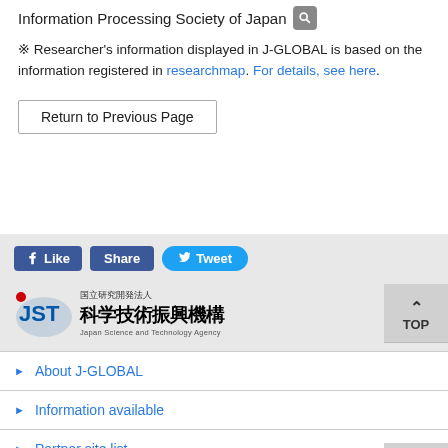Information Processing Society of Japan
※ Researcher's information displayed in J-GLOBAL is based on the information registered in researchmap. For details, see here.
Return to Previous Page
[Figure (screenshot): Social sharing buttons: Like, Share (Facebook blue), Tweet (Twitter blue)]
[Figure (logo): JST - Japan Science and Technology Agency logo with Japanese text 国立研究開発法人 科学技術振興機構]
About J-GLOBAL
Information available
Partner site list